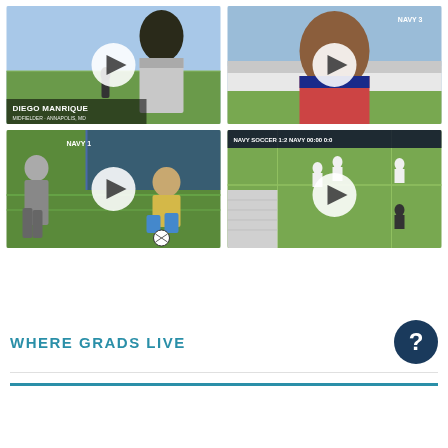[Figure (photo): Video thumbnail: Soccer player Diego Manrique being interviewed on a green field, with play button overlay. Name label reads DIEGO MANRIQUE.]
[Figure (photo): Video thumbnail: Player in red/blue jersey on soccer field, with play button overlay. Corner tag reads NAVY 3.]
[Figure (photo): Video thumbnail: Soccer training drill on turf field, player kneeling near ball, with play button overlay. Corner tag reads NAVY 1.]
[Figure (photo): Video thumbnail: Aerial view of soccer match with scoreboard overlay, players near sideline, with play button overlay.]
WHERE GRADS LIVE